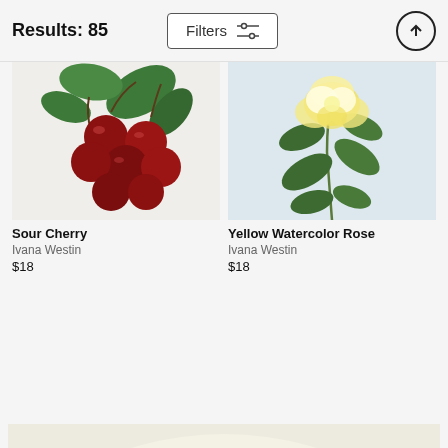Results: 85
[Figure (photo): Painting of sour cherries with green leaves on a light background]
Sour Cherry
Ivana Westin
$18
[Figure (photo): Painting of a yellow watercolor rose with green leaves on a light gray background]
Yellow Watercolor Rose
Ivana Westin
$18
[Figure (photo): Painting of two mallard ducks swimming in rippling green water]